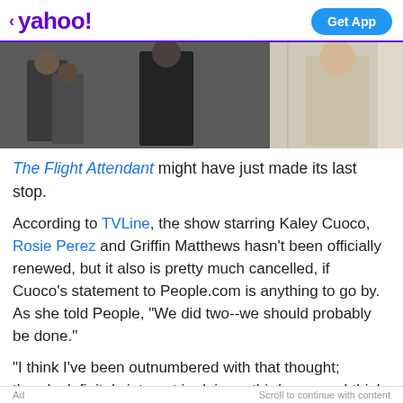< yahoo!   Get App
[Figure (photo): Photo strip showing people at what appears to be an airport or indoor public space. Left side shows people in dark coats, right side shows a person in a beige/cream coat.]
The Flight Attendant might have just made its last stop.
According to TVLine, the show starring Kaley Cuoco, Rosie Perez and Griffin Matthews hasn't been officially renewed, but it also is pretty much cancelled, if Cuoco's statement to People.com is anything to go by. As she told People, "We did two--we should probably be done."
"I think I've been outnumbered with that thought; there's definitely interest in doing a third season. I think for me, at this moment, the plane has landed," she continued.
Ad   Scroll to continue with content